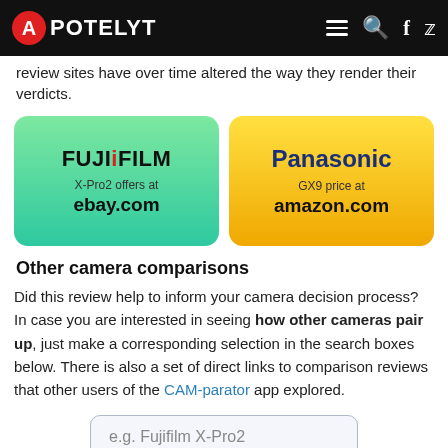APOTELYT
review sites have over time altered the way they render their verdicts.
[Figure (other): Two purchase buttons side by side: Fujifilm X-Pro2 offers at ebay.com (green gradient) and Panasonic GX9 price at amazon.com (yellow/gold gradient)]
Other camera comparisons
Did this review help to inform your camera decision process? In case you are interested in seeing how other cameras pair up, just make a corresponding selection in the search boxes below. There is also a set of direct links to comparison reviews that other users of the CAM-parator app explored.
e.g. Fujifilm X-Pro2